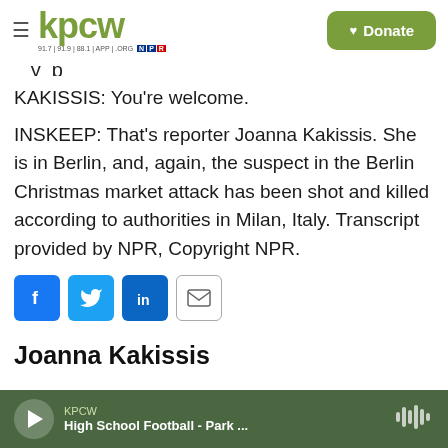kpcw | Donate
KAKISSIS: You're welcome.
INSKEEP: That's reporter Joanna Kakissis. She is in Berlin, and, again, the suspect in the Berlin Christmas market attack has been shot and killed according to authorities in Milan, Italy. Transcript provided by NPR, Copyright NPR.
[Figure (infographic): Social share buttons: Facebook, Twitter, LinkedIn, Email]
Joanna Kakissis
KPCW | High School Football - Park ...